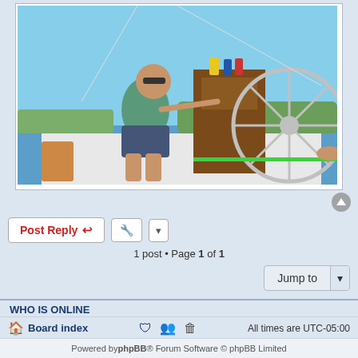[Figure (photo): Man steering a sailboat cockpit on a sunny day, wearing a green shirt and patterned shorts, with a wooden helm pedestal and steering wheel visible]
1 post • Page 1 of 1
WHO IS ONLINE
Users browsing this forum: No registered users and 1 guest
Board index
All times are UTC-05:00
Powered by phpBB® Forum Software © phpBB Limited